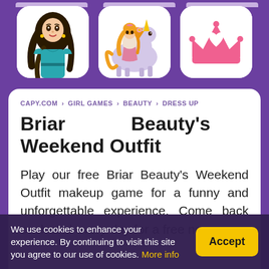[Figure (screenshot): Three game icon cards in a row: a dark-haired doll character in teal outfit, a girl with a unicorn/horse, and a pink crown with heart icon]
CAPY.COM > GIRL GAMES > BEAUTY > DRESS UP
Briar Beauty's Weekend Outfit
Play our free Briar Beauty's Weekend Outfit makeup game for a funny and unforgettable experience. Come back each and every day for a free new
We use cookies to enhance your experience. By continuing to visit this site you agree to our use of cookies. More info